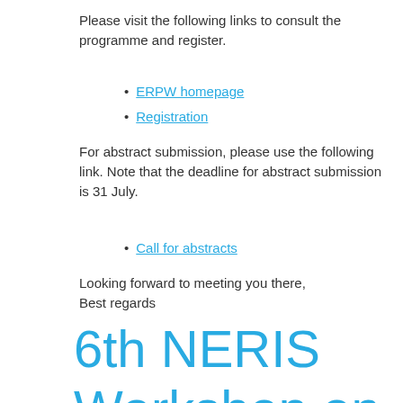Please visit the following links to consult the programme and register.
ERPW homepage
Registration
For abstract submission, please use the following link. Note that the deadline for abstract submission is 31 July.
Call for abstracts
Looking forward to meeting you there,
Best regards
6th NERIS Workshop on-line